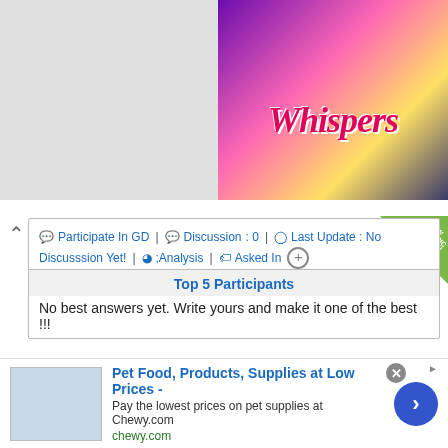[Figure (screenshot): Screenshot of a discussion forum website showing GD (Group Discussion) topic cards with 'Whispers' game advertisement at top right, two topic cards for GD topics, and a Chewy.com ad banner at the bottom.]
Participate In GD | Discussion : 0 | Last Update : No Discusssion Yet! | ;Analysis | Asked In
Top 5 Participants
No best answers yet. Write yours and make it one of the best !!!
Is India safe for women?
Participate In GD | Discussion : 0 | Last Update : No Discusssion Yet! | ;Analysis | Asked In
Top 5 Participants
Pet Food, Products, Supplies at Low Prices - Pay the lowest prices on pet supplies at Chewy.com chewy.com